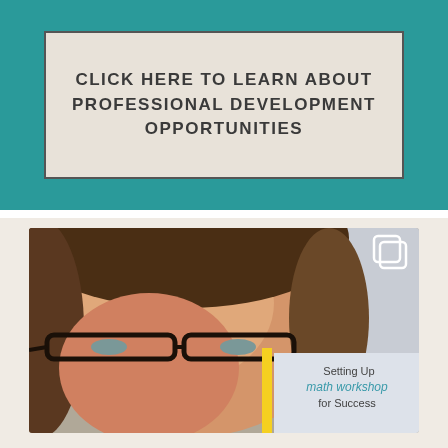[Figure (infographic): Teal/turquoise banner background with a beige/tan inner rectangle containing bold uppercase text: 'CLICK HERE TO LEARN ABOUT PROFESSIONAL DEVELOPMENT OPPORTUNITIES']
CLICK HERE TO LEARN ABOUT PROFESSIONAL DEVELOPMENT OPPORTUNITIES
[Figure (photo): A selfie photo of a woman with curly brown hair and black-rimmed glasses, taken in what appears to be a classroom. In the background a whiteboard is visible with text reading 'Setting Up math workshop for Success'. An Instagram copy/layers icon appears in the top-right corner of the photo.]